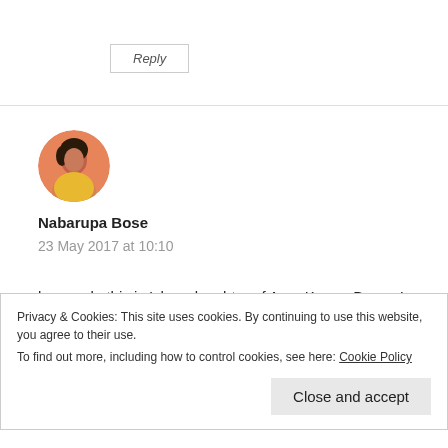Reply
[Figure (photo): Circular avatar photo of a young woman wearing orange/yellow clothing]
Nabarupa Bose
23 May 2017 at 10:10
hey uncle this is Isha.. daughter of Arup Kumar Bose.. I was doing a research on Shorai Art.. Thanks to you I got some good
Privacy & Cookies: This site uses cookies. By continuing to use this website, you agree to their use.
To find out more, including how to control cookies, see here: Cookie Policy
Close and accept
Reply